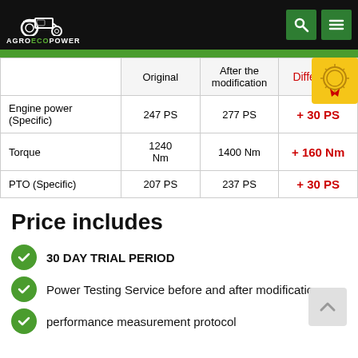AGROECOPOWER
|  | Original | After the modification | Difference |
| --- | --- | --- | --- |
| Engine power (Specific) | 247 PS | 277 PS | + 30 PS |
| Torque | 1240 Nm | 1400 Nm | + 160 Nm |
| PTO (Specific) | 207 PS | 237 PS | + 30 PS |
Price includes
30 DAY TRIAL PERIOD
Power Testing Service before and after modification
performance measurement protocol